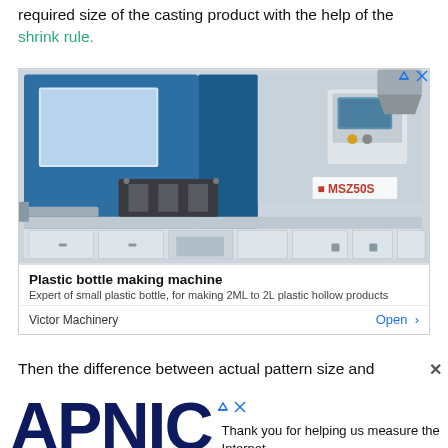...the pattern is made larger than the required size of the casting product with the help of the shrink rule.
[Figure (photo): Industrial plastic bottle making machine (MSZ50S) in blue and white, a large injection molding machine with control panel and conveyor components. Advertisement for Victor Machinery.]
Plastic bottle making machine
Expert of small plastic bottle, for making 2ML to 2L plastic hollow products
Victor Machinery  Open >
Then the difference between actual pattern size and
[Figure (logo): APNIC logo in large dark navy bold text with tagline: Thank you for helping us measure the Internet.]